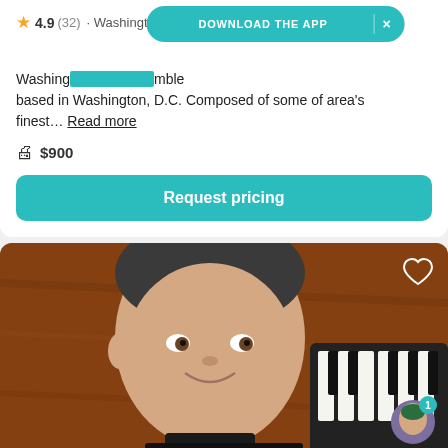4.9 (32) · Washington, DC
DOWNLOAD THE APP  ×
Washington... ensemble based in Washington, D.C. Composed of some of area's finest... Read more
$900
Request pricing
[Figure (photo): Man smiling at camera near a piano keyboard, shot from above on a wooden surface. Chat notification badge in bottom right corner.]